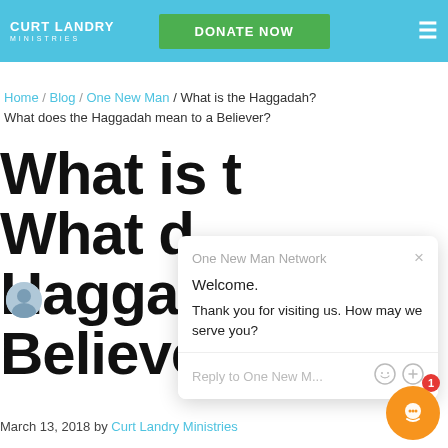CURT LANDRY MINISTRIES | DONATE NOW
Home / Blog / One New Man / What is the Haggadah? What does the Haggadah mean to a Believer?
What is the Haggadah? What does the Haggadah mean to a Believer?
[Figure (screenshot): Chat popup from One New Man Network with welcome message: 'Welcome. Thank you for visiting us. How may we serve you?' and a reply input field.]
March 13, 2018 by Curt Landry Ministries